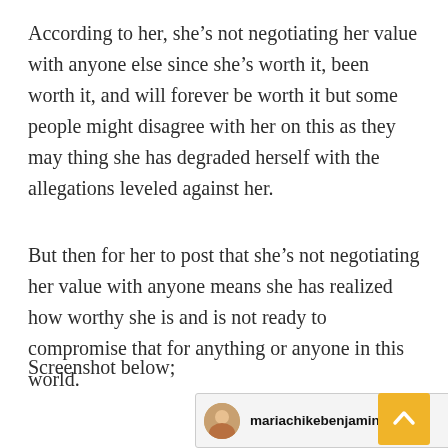According to her, she’s not negotiating her value with anyone else since she’s worth it, been worth it, and will forever be worth it but some people might disagree with her on this as they may thing she has degraded herself with the allegations leveled against her.
But then for her to post that she’s not negotiating her value with anyone means she has realized how worthy she is and is not ready to compromise that for anything or anyone in this world.
Screenshot below;
[Figure (screenshot): A social media screenshot showing a profile with username 'mariachikebenjamin', posted 4m ago, with navigation dots and close X button visible.]